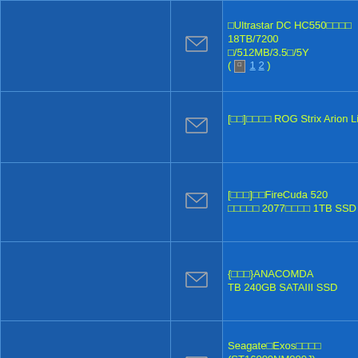| (left col) | icon | title | user |
| --- | --- | --- | --- |
|  | envelope | □Ultrastar DC HC550□□□□ 18TB/7200 □/512MB/3.5□/5Y ( □ 1 2 ) | a |
|  | envelope | [□□]□□□□ ROG Strix Arion Lite | ti |
|  | envelope | [□□□]□□FireCuda 520 □□□□□ 2077□□□□ 1TB SSD | or |
|  | envelope | {□□□}ANACOMDA TB 240GB SATAIII SSD | far |
|  | envelope | Seagate□Exos□□□□ (ST16000NM000J) 16TB/7200 □/256MB/3.5□/5Y | jam |
|  | envelope | (□□□□)Seagate □FireCuda 520□2TB M.2 2280 PCIE SSD | jam |